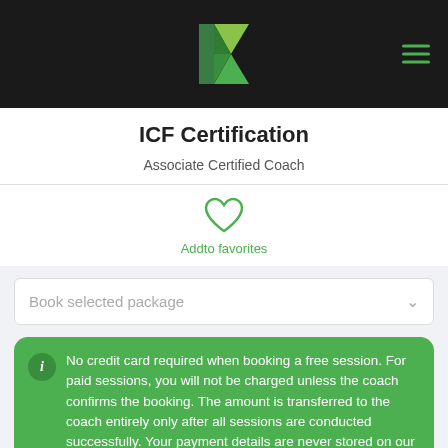ICF Certification - Associate Certified Coach
ICF Certification
Associate Certified Coach
Add to favorites
Book selected package
No credit card required when booking a free session. For paid sessions, you will not be charged unless the coach confirms the booking. The amount is transferred to the coach entirely only after all sessions are conducted successfully. Your payment details are never stored on our platform.